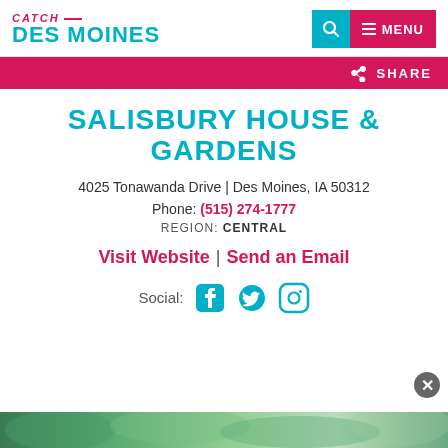CATCH DES MOINES — navigation with search and menu
SHARE
SALISBURY HOUSE & GARDENS
4025 Tonawanda Drive | Des Moines, IA 50312
Phone: (515) 274-1777
REGION: CENTRAL
Visit Website | Send an Email
Social: Facebook Twitter Instagram
[Figure (photo): Outdoor greenery/garden photo strip at bottom of page]